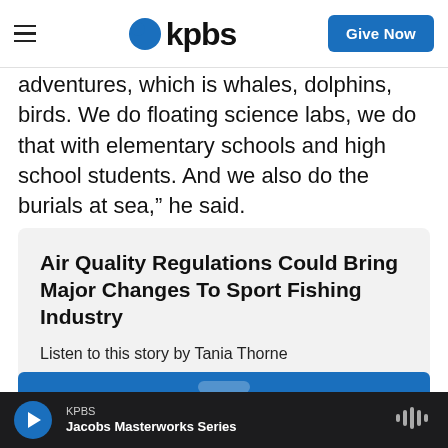KPBS — Give Now
adventures, which is whales, dolphins, birds. We do floating science labs, we do that with elementary schools and high school students. And we also do the burials at sea," he said.
Air Quality Regulations Could Bring Major Changes To Sport Fishing Industry
Listen to this story by Tania Thorne
KPBS — Jacobs Masterworks Series